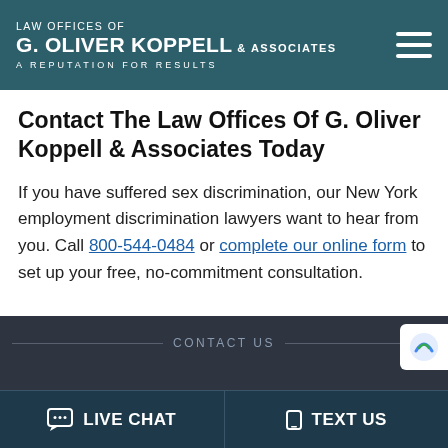LAW OFFICES OF G. OLIVER KOPPELL & ASSOCIATES A REPUTATION FOR RESULTS
Contact The Law Offices Of G. Oliver Koppell & Associates Today
If you have suffered sex discrimination, our New York employment discrimination lawyers want to hear from you. Call 800-544-0484 or complete our online form to set up your free, no-commitment consultation.
CONTACT US
LIVE CHAT  TEXT US